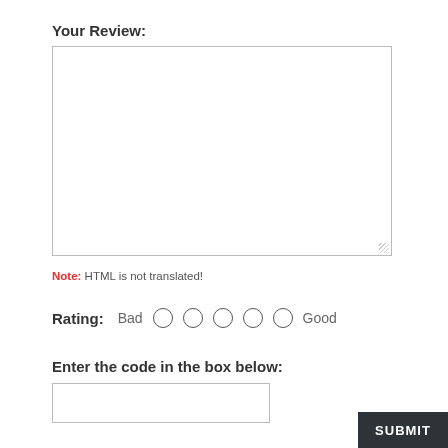Your Review:
[Figure (other): Large empty textarea for entering a review]
Note: HTML is not translated!
Rating: Bad  O  O  O  O  O  Good
Enter the code in the box below:
[Figure (other): Text input box for entering a code]
SUBMIT